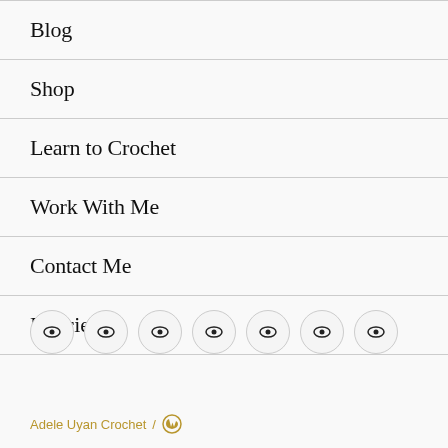Blog
Shop
Learn to Crochet
Work With Me
Contact Me
Policies
[Figure (other): Seven circular social media icon buttons in a horizontal row]
Adele Uyan Crochet / WordPress icon